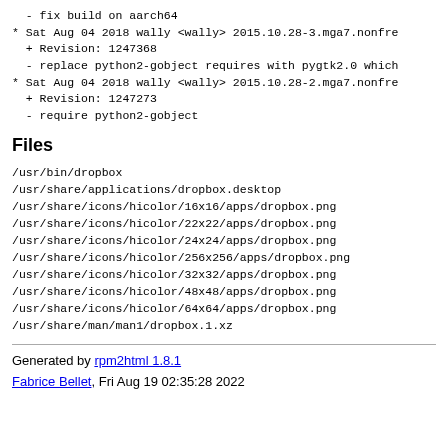- fix build on aarch64
* Sat Aug 04 2018 wally <wally> 2015.10.28-3.mga7.nonfree
  + Revision: 1247368
  - replace python2-gobject requires with pygtk2.0 which
* Sat Aug 04 2018 wally <wally> 2015.10.28-2.mga7.nonfree
  + Revision: 1247273
  - require python2-gobject
Files
/usr/bin/dropbox
/usr/share/applications/dropbox.desktop
/usr/share/icons/hicolor/16x16/apps/dropbox.png
/usr/share/icons/hicolor/22x22/apps/dropbox.png
/usr/share/icons/hicolor/24x24/apps/dropbox.png
/usr/share/icons/hicolor/256x256/apps/dropbox.png
/usr/share/icons/hicolor/32x32/apps/dropbox.png
/usr/share/icons/hicolor/48x48/apps/dropbox.png
/usr/share/icons/hicolor/64x64/apps/dropbox.png
/usr/share/man/man1/dropbox.1.xz
Generated by rpm2html 1.8.1
Fabrice Bellet, Fri Aug 19 02:35:28 2022